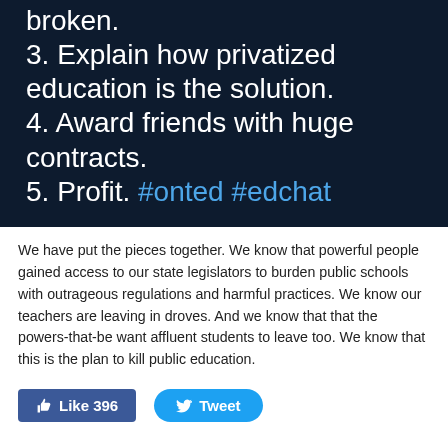[Figure (screenshot): Dark background social media post showing numbered list items about privatized education with hashtags #onted #edchat]
We have put the pieces together. We know that powerful people gained access to our state legislators to burden public schools with outrageous regulations and harmful practices. We know our teachers are leaving in droves. And we know that that the powers-that-be want affluent students to leave too. We know that this is the plan to kill public education.
Like 396  Tweet